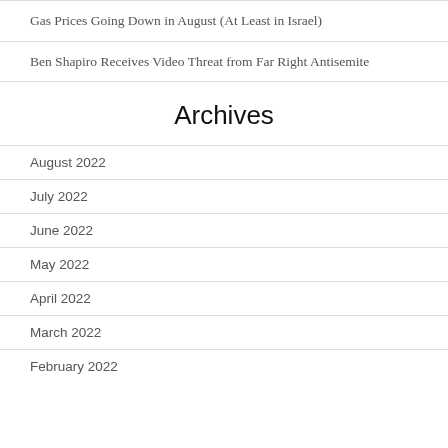Gas Prices Going Down in August (At Least in Israel)
Ben Shapiro Receives Video Threat from Far Right Antisemite
Archives
August 2022
July 2022
June 2022
May 2022
April 2022
March 2022
February 2022